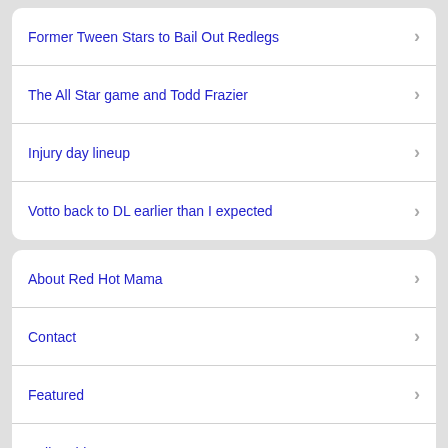Former Tween Stars to Bail Out Redlegs
The All Star game and Todd Frazier
Injury day lineup
Votto back to DL earlier than I expected
About Red Hot Mama
Contact
Featured
Poll Archive
About Red Hot Mama